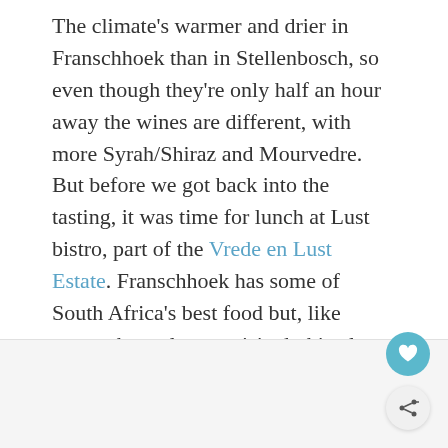The climate's warmer and drier in Franschhoek than in Stellenbosch, so even though they're only half an hour away the wines are different, with more Syrah/Shiraz and Mourvedre. But before we got back into the tasting, it was time for lunch at Lust bistro, part of the Vrede en Lust Estate. Franschhoek has some of South Africa's best food but, like everywhere else we visited, this place was totally unpretentious. We ate outside on the patio in the sunshine, tucking into pizzas, a springbok salad and lamb burger. Each item on the menu has a suggested wine from their vineyard to go with it (but I was more in need of a jug of water!).